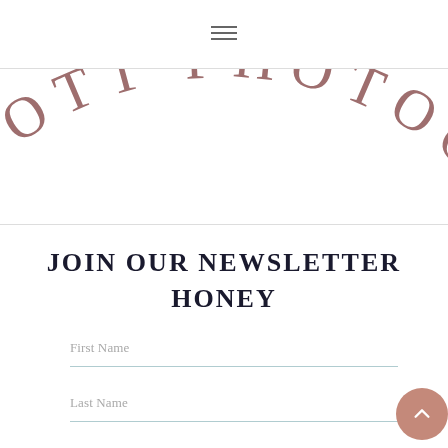[Figure (logo): Partial circular arc logo text reading 'IE OTT PHOTOG' in spaced serif letters on a curved path, mauve/rose color, cropped at edges]
JOIN OUR NEWSLETTER HONEY
First Name
Last Name